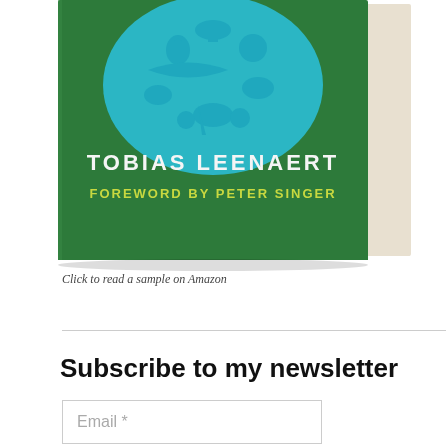[Figure (photo): Book cover photo showing a green hardcover book with a turquoise circular illustration of fruits and vegetables, titled 'TOBIAS LEENAERT' with 'FOREWORD BY PETER SINGER' in yellow-green text on the cover. The book is shown at a slight angle.]
Click to read a sample on Amazon
Subscribe to my newsletter